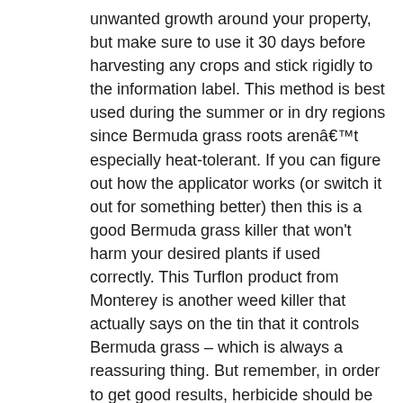unwanted growth around your property, but make sure to use it 30 days before harvesting any crops and stick rigidly to the information label. This method is best used during the summer or in dry regions since Bermuda grass roots arenât especially heat-tolerant. If you can figure out how the applicator works (or switch it out for something better) then this is a good Bermuda grass killer that won't harm your desired plants if used correctly. This Turflon product from Monterey is another weed killer that actually says on the tin that it controls Bermuda grass – which is always a reassuring thing. But remember, in order to get good results, herbicide should be applied (i.e. Spot treating for small invasions can also get rid of Bermuda grass weeds fast. Hi, Alex K. here. It’s still widely available – but for how long remains unclear. The name is Bermuda Grass because it was first introduced in the USA from Bermuda. DO I NEED TO DIG UP THE ROOTS BEFORE SEEDING? The bad news is that short of ripping everything up or burning the place down, you have limited options. What are your thoughts? February 1, 2019 admin Bermuda Grass Care, Bermuda Grass Fertilizers, Lawn Weed Control, lawn